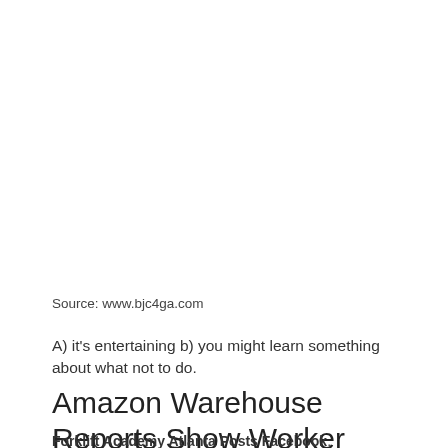Source: www.bjc4ga.com
A) it's entertaining b) you might learn something about what not to do.
Amazon Warehouse Reports Show Worker Injuries The Atlantic
Forklift Academy Atlanta Posts Facebook. Последние твиты от atlanta forklifts (@atlantaforklift). Atlanta